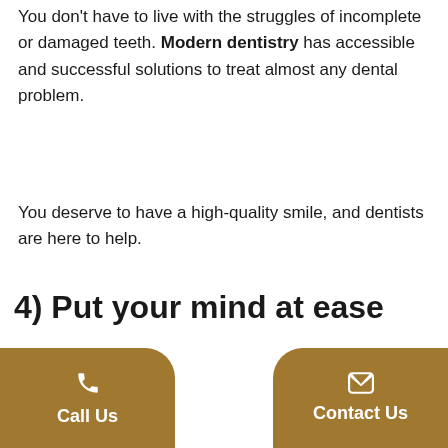You don't have to live with the struggles of incomplete or damaged teeth. Modern dentistry has accessible and successful solutions to treat almost any dental problem.
You deserve to have a high-quality smile, and dentists are here to help.
4) Put your mind at ease
Does something hurt? Do your teeth feel a little loose, or is there a white spot that suddenly appeared out of nowhere?
Don't overthink it any longer. Get peace of mind at could be going on by vi entist and clear all your
Call Us
Contact Us